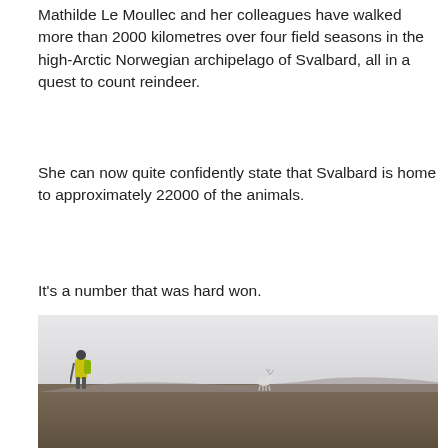Mathilde Le Moullec and her colleagues have walked more than 2000 kilometres over four field seasons in the high-Arctic Norwegian archipelago of Svalbard, all in a quest to count reindeer.
She can now quite confidently state that Svalbard is home to approximately 22000 of the animals.
It's a number that was hard won.
[Figure (photo): A researcher with a bright green/yellow backpack stands in a vast, flat, tundra landscape. A reindeer is visible in the distance to the right. Hills are faintly visible on the horizon. The sky is overcast and grey-white.]